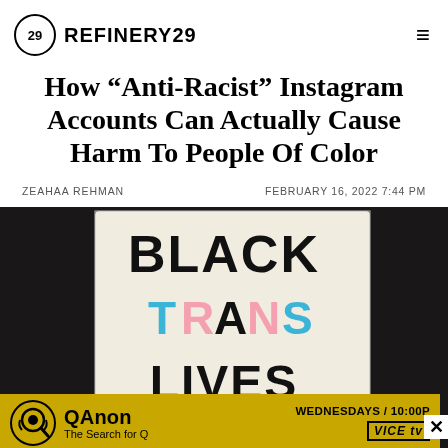REFINERY29
How “Anti-Racist” Instagram Accounts Can Actually Cause Harm To People Of Color
ZEAHAA REHMAN    FEBRUARY 16, 2022 7:44 PM
[Figure (photo): Person wearing black jacket holding a hand-lettered sign reading BLACK TRANS LIVES, with a QAnon: The Search for Q advertisement banner overlaid at the bottom on VICE TV, Wednesdays 10:00P]